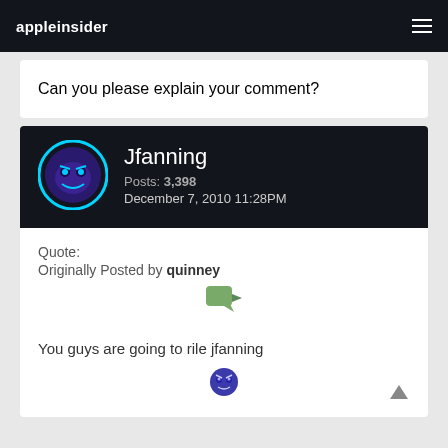appleinsider
Can you please explain your comment?
Jfanning
Posts: 3,398
December 7, 2010 11:28PM
Quote:
Originally Posted by quinney

You guys are going to rile jfanning